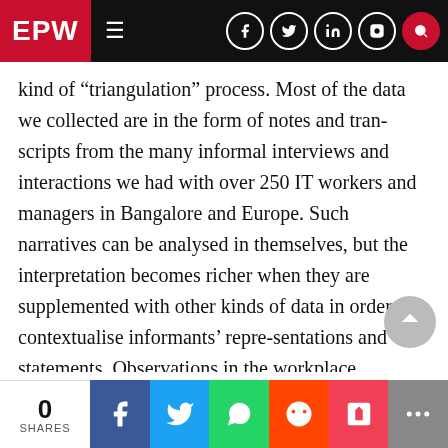EPW (Economic & Political Weekly) — navigation bar with logo, hamburger menu, and social/search icons
kind of “triangulation” process. Most of the data we collected are in the form of notes and transcripts from the many informal interviews and interactions we had with over 250 IT workers and managers in Bangalore and Europe. Such narratives can be analysed in themselves, but the interpretation becomes richer when they are supplemented with other kinds of data in order to contextualise informants’ repre-sentations and statements. Observations in the workplace provided the context for the interpretation of informants’ state-ments: for instance, the oft stated claim that IT companies are “flat” rather
0 SHARES | Share on Facebook | Share on Twitter | Share on WhatsApp | Share on Reddit | Save to Pocket | More